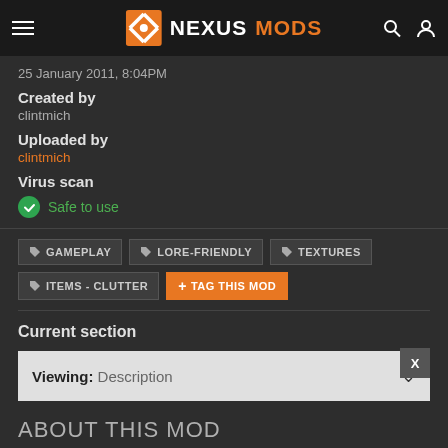NEXUSMODS
25 January 2011,  8:04PM
Created by
clintmich
Uploaded by
clintmich
Virus scan
Safe to use
GAMEPLAY
LORE-FRIENDLY
TEXTURES
ITEMS - CLUTTER
+ TAG THIS MOD
Current section
Viewing: Description
ABOUT THIS MOD